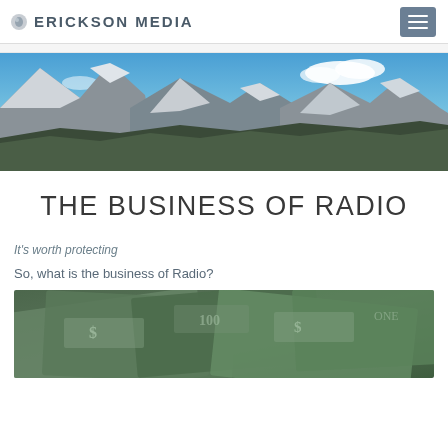ERICKSON MEDIA
[Figure (photo): Panoramic mountain landscape with snow-capped peaks under blue sky with clouds]
THE BUSINESS OF RADIO
It's worth protecting
So, what is the business of Radio?
[Figure (photo): Close-up of scattered US dollar bills]